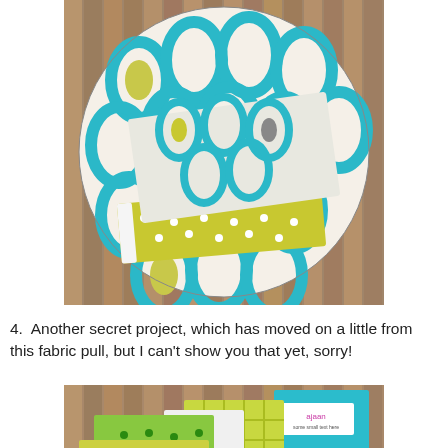[Figure (photo): A circular fabric piece with teal/aqua leaf pattern and yellow-green polka dot fabric pieces arranged on top, placed on wooden deck boards.]
4.  Another secret project, which has moved on a little from this fabric pull, but I can't show you that yet, sorry!
[Figure (photo): Fabric pull with green, yellow-green, white and teal fabric swatches and fat quarters arranged on a wooden surface, with a label/tag visible.]